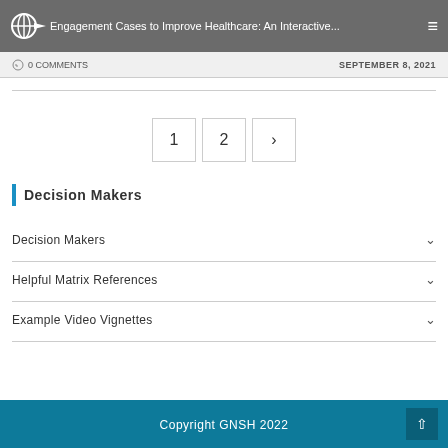Engagement Cases to Improve Healthcare: An Interactive... 0 COMMENTS  SEPTEMBER 8, 2021
1  2  ›
Decision Makers
Decision Makers
Helpful Matrix References
Example Video Vignettes
Copyright GNSH 2022